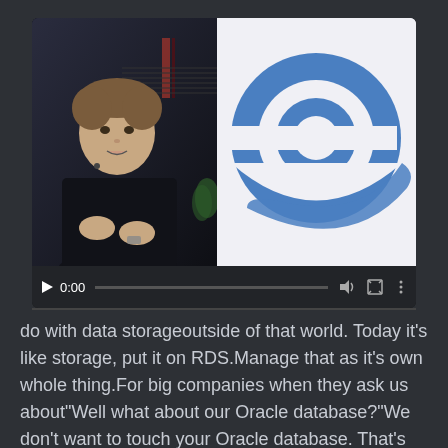[Figure (screenshot): Video player screenshot showing a presenter on the left side in dark clothing with a microphone, and on the right side a monitor displaying the Internet Explorer 'e' logo in blue on a white background. Video controls show 0:00 timestamp with play, volume, fullscreen, and menu icons.]
do with data storageoutside of that world. Today it's like storage, put it on RDS.Manage that as it's own whole thing.For big companies when they ask us about"Well what about our Oracle database?"We don't want to touch your Oracle database. That's not going to run on us.